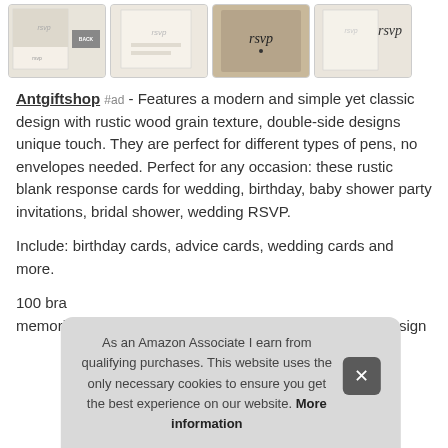[Figure (photo): Four thumbnail images of RSVP card products with rustic wood grain texture design, showing front and back views]
Antgiftshop #ad - Features a modern and simple yet classic design with rustic wood grain texture, double-side designs unique touch. They are perfect for different types of pens, no envelopes needed. Perfect for any occasion: these rustic blank response cards for wedding, birthday, baby shower party invitations, bridal shower, wedding RSVP.
Include: birthday cards, advice cards, wedding cards and more.
100 bra memorial cards, sympathy, offering a variety of original design
As an Amazon Associate I earn from qualifying purchases. This website uses the only necessary cookies to ensure you get the best experience on our website. More information